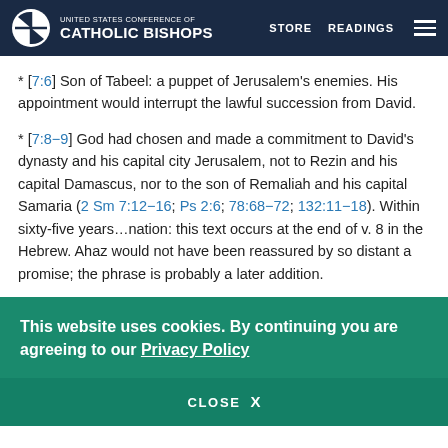United States Conference of Catholic Bishops | STORE | READINGS
* [7:6] Son of Tabeel: a puppet of Jerusalem's enemies. His appointment would interrupt the lawful succession from David.
* [7:8−9] God had chosen and made a commitment to David's dynasty and his capital city Jerusalem, not to Rezin and his capital Damascus, nor to the son of Remaliah and his capital Samaria (2 Sm 7:12−16; Ps 2:6; 78:68−72; 132:11−18). Within sixty-five years…nation: this text occurs at the end of v. 8 in the Hebrew. Ahaz would not have been reassured by so distant a promise; the phrase is probably a later addition.
This website uses cookies. By continuing you are agreeing to our Privacy Policy
CLOSE X